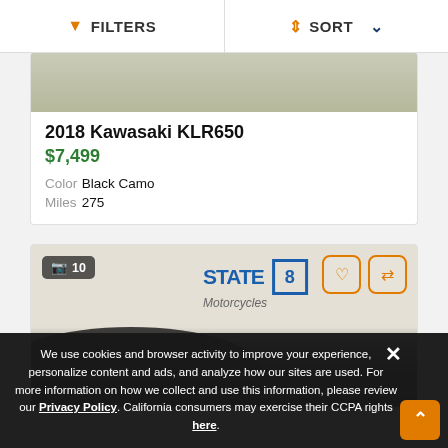FILTERS  SORT
[Figure (photo): Partial top of a motorcycle listing card image, olive/tan colored background]
2018 Kawasaki KLR650
$7,499
|  |  |
| --- | --- |
| Color | Black Camo |
| Miles | 275 |
[Figure (photo): State 8 Motorcycles dealership photo showing a motorcycle in front of a dealer logo background with a photo count badge showing 10 photos and heart/compare action buttons]
We use cookies and browser activity to improve your experience, personalize content and ads, and analyze how our sites are used. For more information on how we collect and use this information, please review our Privacy Policy. California consumers may exercise their CCPA rights here.